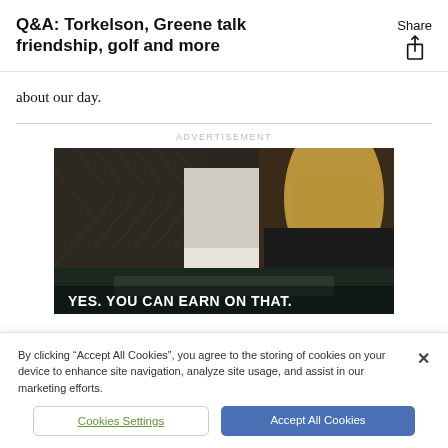Q&A: Torkelson, Greene talk friendship, golf and more
about our day.
ADVERTISEMENT
[Figure (photo): Advertisement photo showing people at a table in formal wear, with overlay text: YES. YOU CAN EARN ON THAT.]
By clicking “Accept All Cookies”, you agree to the storing of cookies on your device to enhance site navigation, analyze site usage, and assist in our marketing efforts.